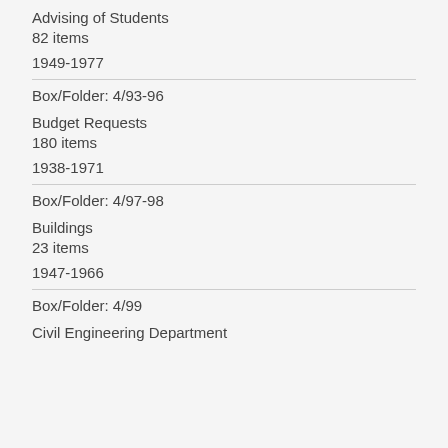Advising of Students
82 items
1949-1977
Box/Folder: 4/93-96
Budget Requests
180 items
1938-1971
Box/Folder: 4/97-98
Buildings
23 items
1947-1966
Box/Folder: 4/99
Civil Engineering Department